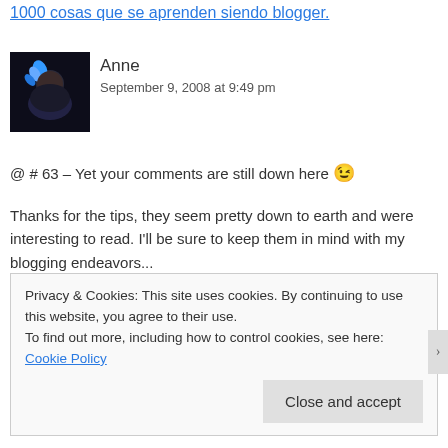1000 cosas que se aprenden siendo blogger.
[Figure (photo): Avatar photo of Anne — woman with blue hair against dark background]
Anne
September 9, 2008 at 9:49 pm
@ # 63 – Yet your comments are still down here 😉
Thanks for the tips, they seem pretty down to earth and were interesting to read. I'll be sure to keep them in mind with my blogging endeavors...
Reply ↓
Privacy & Cookies: This site uses cookies. By continuing to use this website, you agree to their use.
To find out more, including how to control cookies, see here: Cookie Policy
Close and accept